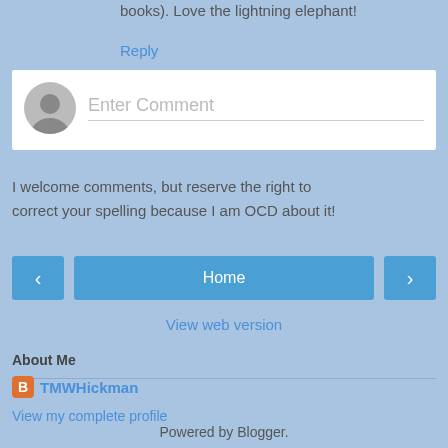books). Love the lightning elephant!
Reply
[Figure (screenshot): Comment entry box with avatar placeholder and 'Enter Comment' placeholder text]
I welcome comments, but reserve the right to correct your spelling because I am OCD about it!
[Figure (infographic): Navigation buttons: left arrow, Home button, right arrow]
View web version
About Me
TMWHickman
View my complete profile
Powered by Blogger.